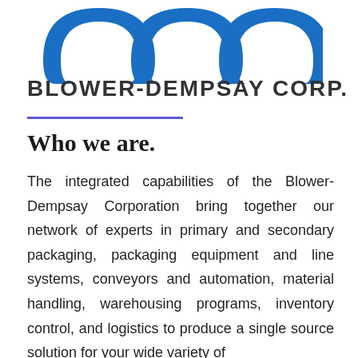[Figure (logo): Blower-Dempsay Corp. logo — three large blue omega/horseshoe shapes side by side on white background]
BLOWER-DEMPSAY CORP.
Who we are.
The integrated capabilities of the Blower-Dempsay Corporation bring together our network of experts in primary and secondary packaging, packaging equipment and line systems, conveyors and automation, material handling, warehousing programs, inventory control, and logistics to produce a single source solution for your wide variety of